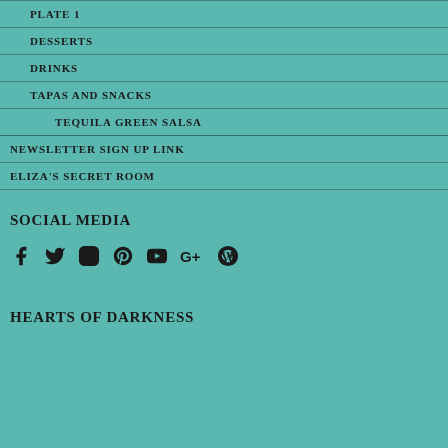PLATE 1
DESSERTS
DRINKS
TAPAS AND SNACKS
TEQUILA GREEN SALSA
NEWSLETTER SIGN UP LINK
ELIZA'S SECRET ROOM
SOCIAL MEDIA
[Figure (other): Social media icons: Facebook, Twitter, Instagram, Pinterest, YouTube, Google+, WordPress]
HEARTS OF DARKNESS